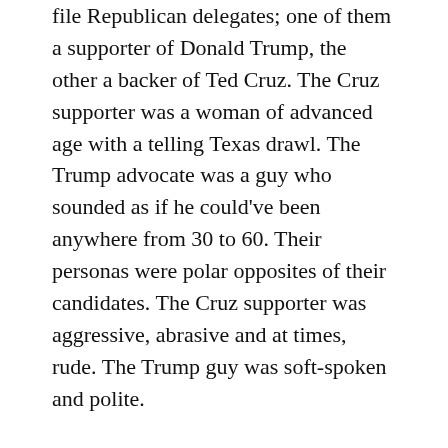file Republican delegates; one of them a supporter of Donald Trump, the other a backer of Ted Cruz. The Cruz supporter was a woman of advanced age with a telling Texas drawl. The Trump advocate was a guy who sounded as if he could've been anywhere from 30 to 60. Their personas were polar opposites of their candidates. The Cruz supporter was aggressive, abrasive and at times, rude. The Trump guy was soft-spoken and polite.
I didn't have a sound recorder or a note taker of any kind so I'm paraphrasing here, but this is just some of what the Cruz lady said:
“Ted Cruz is a man who will do what he says